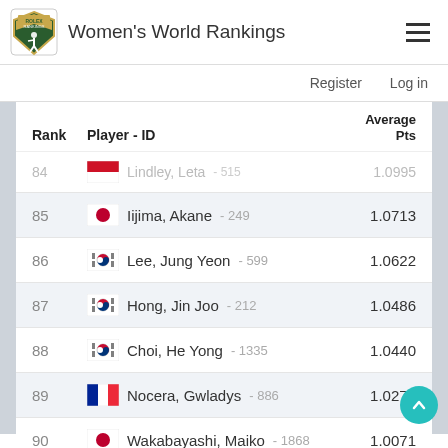Women's World Rankings
Register  Log in
| Rank | Player - ID | Average Pts |
| --- | --- | --- |
| 84 | Lindley, Leta - 515 | 1.0995 |
| 85 | Iijima, Akane - 249 | 1.0713 |
| 86 | Lee, Jung Yeon - 599 | 1.0622 |
| 87 | Hong, Jin Joo - 212 | 1.0486 |
| 88 | Choi, He Yong - 1335 | 1.0440 |
| 89 | Nocera, Gwladys - 886 | 1.0271 |
| 90 | Wakabayashi, Maiko - 1868 | 1.0071 |